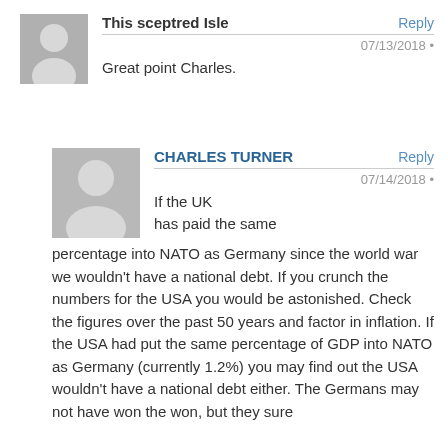This sceptred Isle
Reply
07/13/2018 •
Great point Charles.
CHARLES TURNER
Reply
07/14/2018 •
If the UK has paid the same percentage into NATO as Germany since the world war we wouldn't have a national debt. If you crunch the numbers for the USA you would be astonished. Check the figures over the past 50 years and factor in inflation. If the USA had put the same percentage of GDP into NATO as Germany (currently 1.2%) you may find out the USA wouldn't have a national debt either. The Germans may not have won the won, but they sure